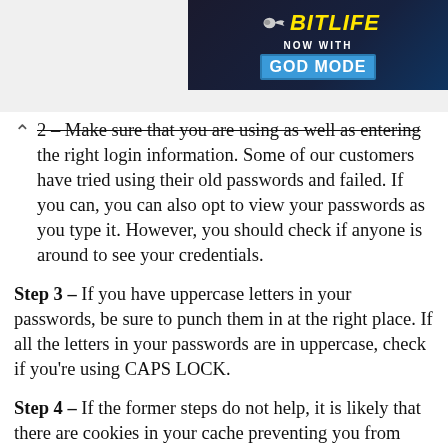[Figure (other): BitLife 'NOW WITH GOD MODE' advertisement banner in top right corner with sperm icon logo and blue/dark background]
2 – Make sure that you are using as well as entering the right login information. Some of our customers have tried using their old passwords and failed. If you can, you can also opt to view your passwords as you type it. However, you should check if anyone is around to see your credentials.
Step 3 – If you have uppercase letters in your passwords, be sure to punch them in at the right place. If all the letters in your passwords are in uppercase, check if you're using CAPS LOCK.
Step 4 – If the former steps do not help, it is likely that there are cookies in your cache preventing you from